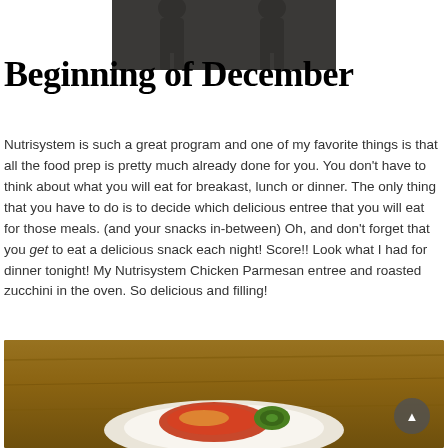[Figure (photo): Top portion of a photo showing a person in black clothing, partially cropped at the top of the page]
Beginning of December
Nutrisystem is such a great program and one of my favorite things is that all the food prep is pretty much already done for you. You don't have to think about what you will eat for breakast, lunch or dinner. The only thing that you have to do is to decide which delicious entree that you will eat for those meals. (and your snacks in-between) Oh, and don't forget that you get to eat a delicious snack each night! Score!! Look what I had for dinner tonight! My Nutrisystem Chicken Parmesan entree and roasted zucchini in the oven. So delicious and filling!
[Figure (photo): Photo of a plate of food — Nutrisystem Chicken Parmesan entree with roasted zucchini, on a wooden surface]